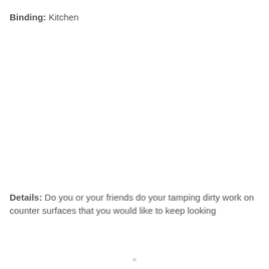Binding: Kitchen
Details: Do you or your friends do your tamping dirty work on counter surfaces that you would like to keep looking